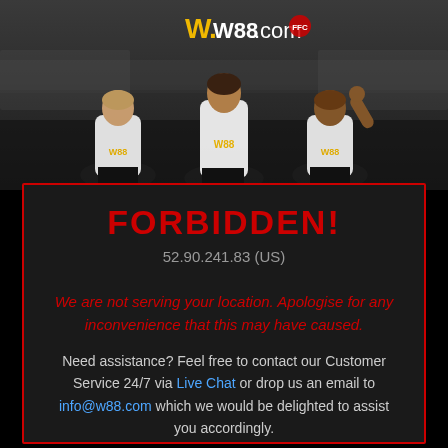[Figure (photo): W88.com logo at top with three Fulham FC football players in white W88-sponsored jerseys posed in front of a stadium background]
FORBIDDEN!
52.90.241.83 (US)
We are not serving your location. Apologise for any inconvenience that this may have caused.
Need assistance? Feel free to contact our Customer Service 24/7 via Live Chat or drop us an email to info@w88.com which we would be delighted to assist you accordingly.